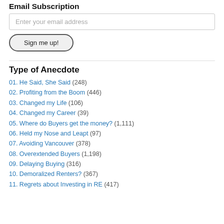Email Subscription
Enter your email address
Sign me up!
Type of Anecdote
01. He Said, She Said (248)
02. Profiting from the Boom (446)
03. Changed my Life (106)
04. Changed my Career (39)
05. Where do Buyers get the money? (1,111)
06. Held my Nose and Leapt (97)
07. Avoiding Vancouver (378)
08. Overextended Buyers (1,198)
09. Delaying Buying (316)
10. Demoralized Renters? (367)
11. Regrets about Investing in RE (417)